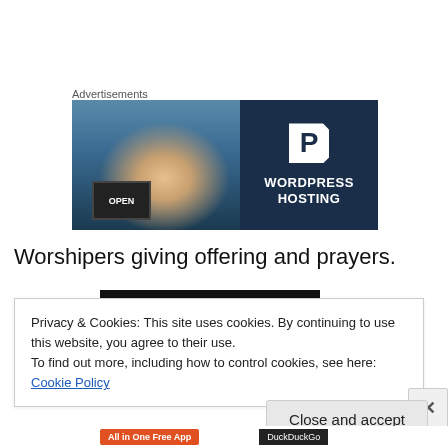Advertisements
[Figure (photo): WordPress Hosting advertisement banner showing a smiling woman in a shop with a sign, next to a dark navy blue panel with a P logo and text WORDPRESS HOSTING]
Worshipers giving offering and prayers.
[Figure (photo): Black bar partially visible, content beneath cookie banner]
Privacy & Cookies: This site uses cookies. By continuing to use this website, you agree to their use.
To find out more, including how to control cookies, see here: Cookie Policy
Close and accept